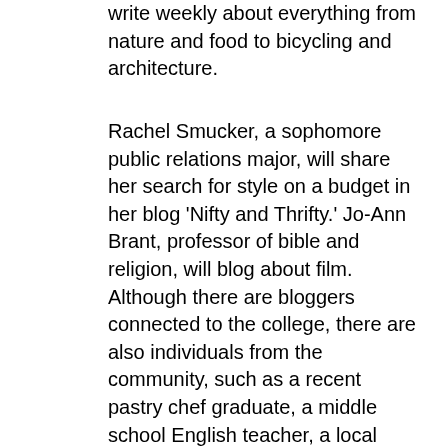write weekly about everything from nature and food to bicycling and architecture.
Rachel Smucker, a sophomore public relations major, will share her search for style on a budget in her blog 'Nifty and Thrifty.' Jo-Ann Brant, professor of bible and religion, will blog about film. Although there are bloggers connected to the college, there are also individuals from the community, such as a recent pastry chef graduate, a middle school English teacher, a local farmer, an urban planner and a single mother – and that's just the tip of the iceberg. The staff hopes to add more bloggers as Goshen Commons grows.